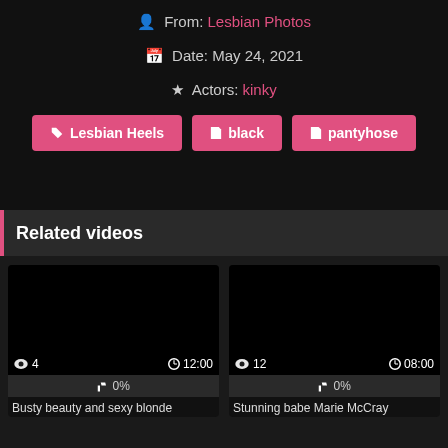From: Lesbian Photos
Date: May 24, 2021
Actors: kinky
Lesbian Heels
black
pantyhose
Related videos
[Figure (screenshot): Video thumbnail black screen, views: 4, duration: 12:00, rating: 0%]
Busty beauty and sexy blonde
[Figure (screenshot): Video thumbnail black screen, views: 12, duration: 08:00, rating: 0%]
Stunning babe Marie McCray